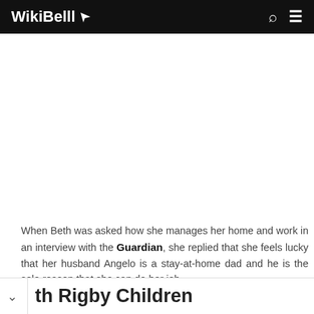WikiBelll
[Figure (other): Advertisement or blank space area below the header navigation bar]
When Beth was asked how she manages her home and work in an interview with the Guardian, she replied that she feels lucky that her husband Angelo is a stay-at-home dad and he is the sole reason that she can do her job.
th Rigby Children